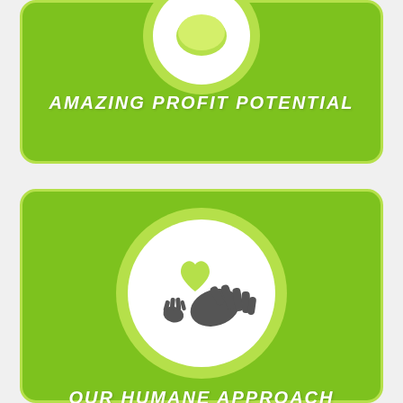[Figure (infographic): Green rounded card with a circle icon at top (partially cropped) and bold white italic text reading AMAZING PROFIT POTENTIAL]
[Figure (infographic): Green rounded card with a circle containing a yellow-green heart and two hands (large dark and small dark animal paw) icon, and bold white italic text reading OUR HUMANE APPROACH]